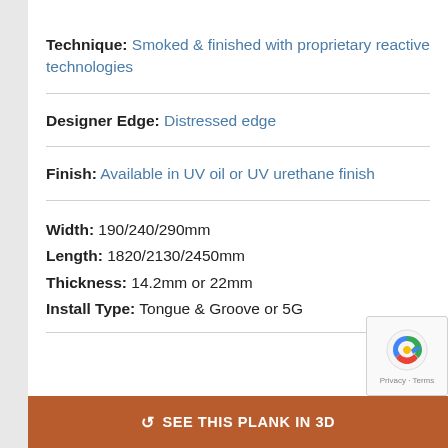Technique: Smoked & finished with proprietary reactive technologies
Designer Edge: Distressed edge
Finish: Available in UV oil or UV urethane finish
Width: 190/240/290mm
Length: 1820/2130/2450mm
Thickness: 14.2mm or 22mm
Install Type: Tongue & Groove or 5G
SEE THIS PLANK IN 3D